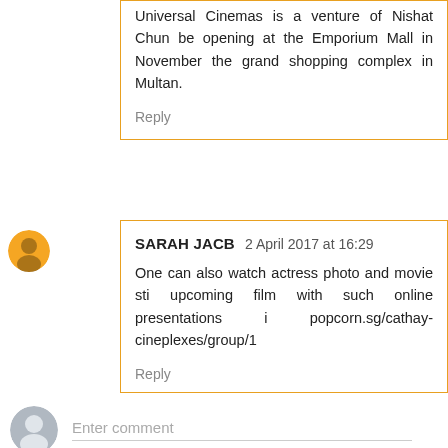Universal Cinemas is a venture of Nishat Chun... be opening at the Emporium Mall in November... the grand shopping complex in Multan.
Reply
SARAH JACB 2 April 2017 at 16:29
One can also watch actress photo and movie sti... upcoming film with such online presentations i... popcorn.sg/cathay-cineplexes/group/1
Reply
Enter comment